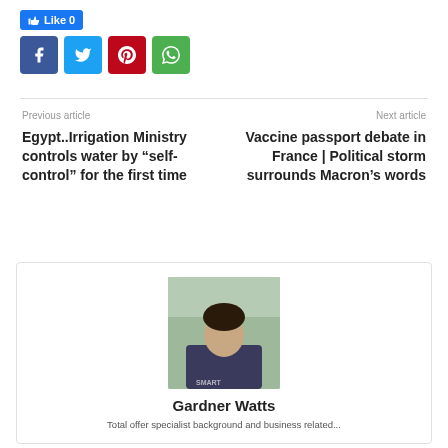[Figure (other): Social Like button (Facebook Like count: 0) and social sharing icons: Facebook (blue), Twitter (cyan), Pinterest (red), WhatsApp (green)]
Previous article
Next article
Egypt..Irrigation Ministry controls water by “self-control” for the first time
Vaccine passport debate in France | Political storm surrounds Macron’s words
[Figure (photo): Author photo of Gardner Watts, a young man wearing a dark shirt with text 'SMART', photographed outdoors with greenery in background]
Gardner Watts
Total offer specialist background and business related...